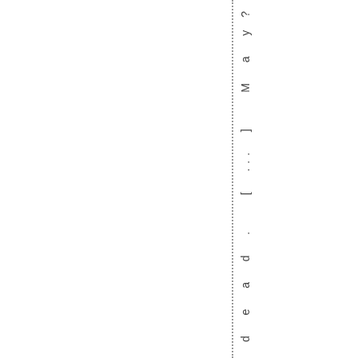n t t h a t l e f t o n e m a n d e a d . [ ... ] M a y ?